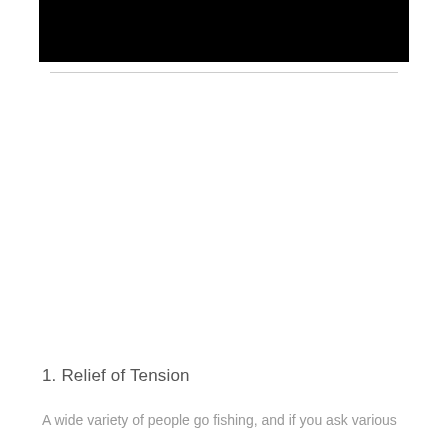[Figure (photo): Black rectangle representing a redacted or obscured image at the top of the page]
1. Relief of Tension
A wide variety of people go fishing, and if you ask various